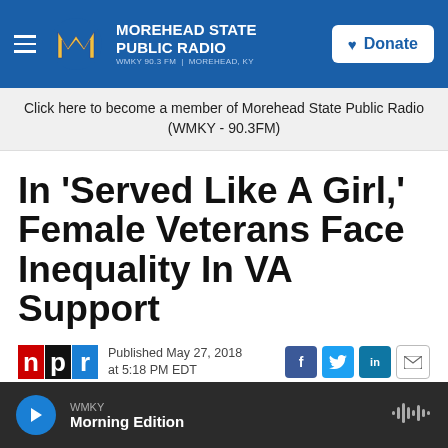Morehead State Public Radio WMKY 90.3 FM | MOREHEAD, KY
Click here to become a member of Morehead State Public Radio (WMKY - 90.3FM)
In 'Served Like A Girl,' Female Veterans Face Inequality In VA Support
Published May 27, 2018 at 5:18 PM EDT
WMKY Morning Edition